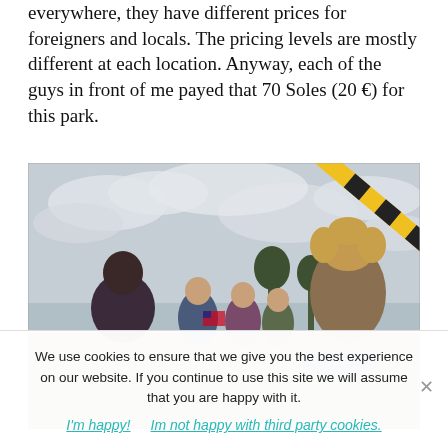everywhere, they have different prices for foreigners and locals. The pricing levels are mostly different at each location. Anyway, each of the guys in front of me payed that 70 Soles (20 €) for this park.
[Figure (photo): Outdoor scene at a road checkpoint or park entrance. People standing near a yellow and black PARE (stop) sign/barrier pole. A woman with curly blonde hair on the right side, a man in a dark hoodie on the left, other people in the middle including someone with a Chilean flag. Overcast sky and trees in the background.]
We use cookies to ensure that we give you the best experience on our website. If you continue to use this site we will assume that you are happy with it.
I'm happy!   Im not happy with third party cookies.